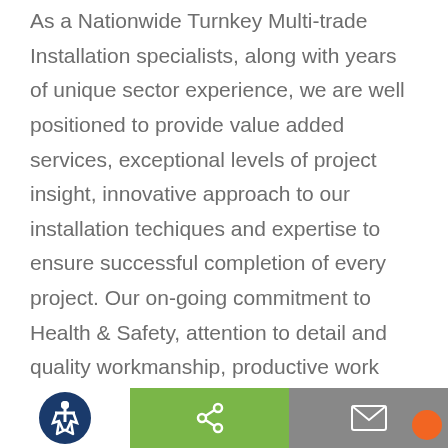As a Nationwide Turnkey Multi-trade Installation specialists, along with years of unique sector experience, we are well positioned to provide value added services, exceptional levels of project insight, innovative approach to our installation techiques and expertise to ensure successful completion of every project. Our on-going commitment to Health & Safety, attention to detail and quality workmanship, productive work and collaborative approach to all projects (large or Small) is what sets us apart from the rest.

When looking for value added multi-trade services
[Figure (other): Bottom navigation bar with accessibility icon (blue circle with wheelchair symbol), green share button, and grey mail button, plus an orange circle partially visible at bottom right]